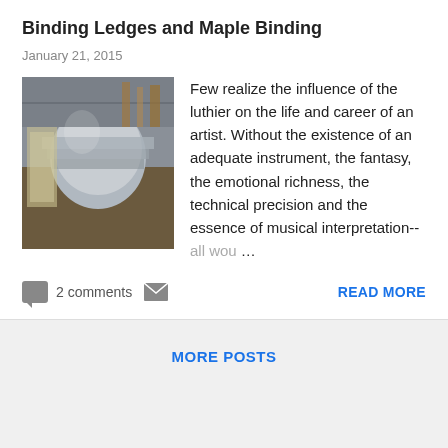Binding Ledges and Maple Binding
January 21, 2015
[Figure (photo): Photo of workshop with guitar binding materials and wooden pieces on a workbench]
Few realize the influence of the luthier on the life and career of an artist. Without the existence of an adequate instrument, the fantasy, the emotional richness, the technical precision and the essence of musical interpretation--all wou …
2 comments
READ MORE
MORE POSTS
Powered by Blogger